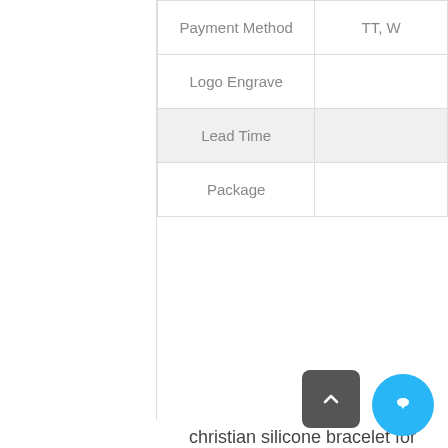| Payment Method | TT, W... |
| --- | --- |
| Payment Method | TT, W... |
| Logo Engrave |  |
| Lead Time |  |
| Package |  |
christian silicone bracelet for men details pictures